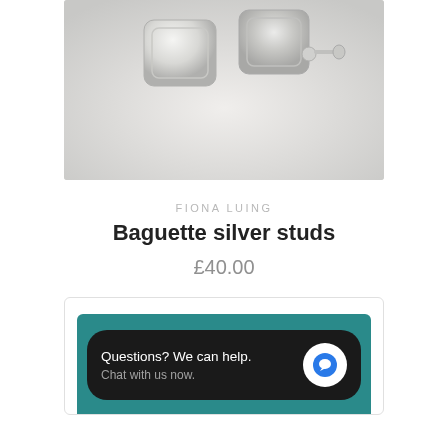[Figure (photo): Product photo of baguette silver stud earrings — two square/rectangular silver earrings with stud backs on a white background]
FIONA LUING
Baguette silver studs
£40.00
[Figure (screenshot): Chat widget screenshot showing a teal background with a dark chat bubble saying 'Questions? We can help. Chat with us now.' and a blue message icon circle]